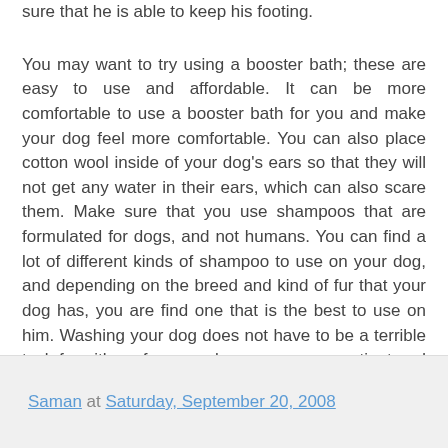sure that he is able to keep his footing.
You may want to try using a booster bath; these are easy to use and affordable. It can be more comfortable to use a booster bath for you and make your dog feel more comfortable. You can also place cotton wool inside of your dog's ears so that they will not get any water in their ears, which can also scare them. Make sure that you use shampoos that are formulated for dogs, and not humans. You can find a lot of different kinds of shampoo to use on your dog, and depending on the breed and kind of fur that your dog has, you are find one that is the best to use on him. Washing your dog does not have to be a terrible task for either of you, as long as you are patient and loving with your dog and let him know that it can be a good experience.
Saman at Saturday, September 20, 2008